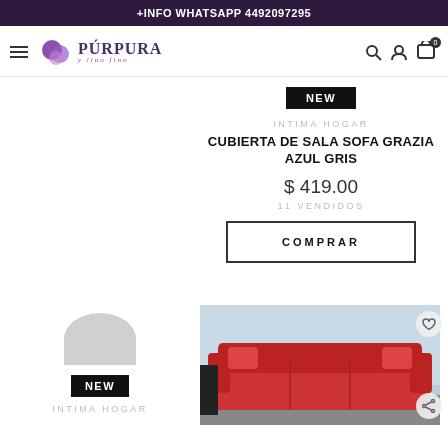+INFO WHATSAPP 4492097295
[Figure (logo): Púrpura y lino fino brand logo with purple geometric shapes]
NEW
INTIMA HOGAR
CUBIERTA DE SALA SOFA GRAZIA AZUL GRIS
$ 419.00
11 VENDIDOS
COMPRAR
NEW
INTIMA HOGAR
[Figure (photo): Red sofa cover on a couch in a living room setting]